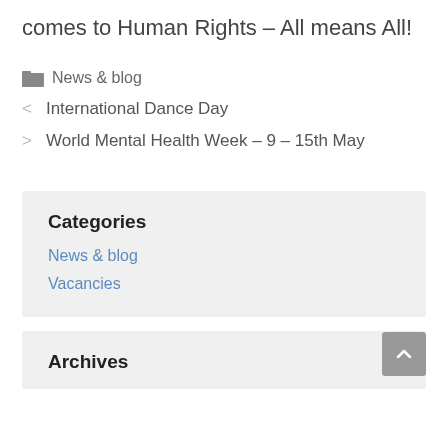comes to Human Rights – All means All!
News & blog
< International Dance Day
> World Mental Health Week – 9 – 15th May
Categories
News & blog
Vacancies
Archives